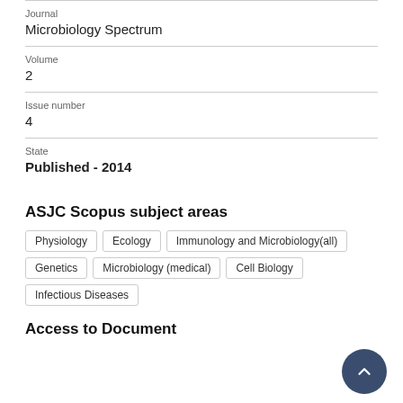Journal
Microbiology Spectrum
Volume
2
Issue number
4
State
Published - 2014
ASJC Scopus subject areas
Physiology
Ecology
Immunology and Microbiology(all)
Genetics
Microbiology (medical)
Cell Biology
Infectious Diseases
Access to Document